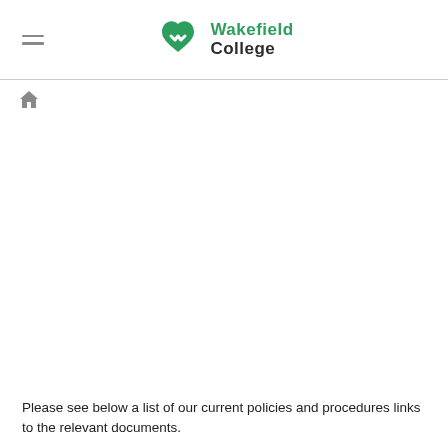Wakefield College
[Figure (logo): Wakefield College logo with green heart/M icon and text 'Wakefield College']
[Figure (other): Home breadcrumb icon (house symbol)]
Please see below a list of our current policies and procedures links to the relevant documents.